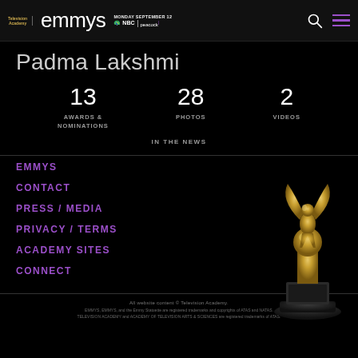Television Academy | emmys | MONDAY SEPTEMBER 12 NBC | peacock
Padma Lakshmi
13 AWARDS & NOMINATIONS
28 PHOTOS
2 VIDEOS
IN THE NEWS
EMMYS
CONTACT
PRESS / MEDIA
PRIVACY / TERMS
ACADEMY SITES
CONNECT
[Figure (illustration): Gold Emmy Award statuette on dark background]
All website content © Television Academy. EMMYS, EMMYS, and the Emmy Statuette are registered trademarks and copyrights of ATAS and NATAS. TELEVISION ACADEMY and ACADEMY OF TELEVISION ARTS & SCIENCES are registered trademarks of ATAS.